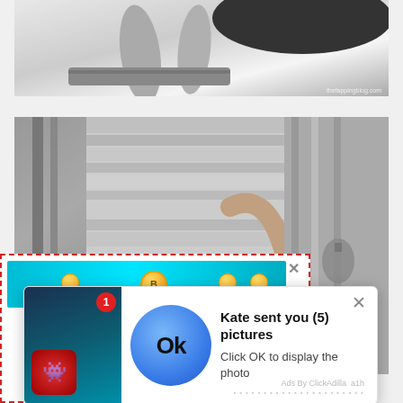[Figure (photo): Black and white photo showing the lower legs and feet of a person, with a dark dress/skirt, standing on a wooden surface. Bottom right watermark reads 'thefappingblog.com'.]
[Figure (photo): Black and white photo of a young woman with dark hair peeking/looking upward from below, near wooden structures like a porch or staircase railing. Taken from an interesting low angle.]
[Figure (screenshot): Ad popup overlaid on the page. Contains a dashed red border outer box with a game banner (teal background with coins), and a white notification-style popup saying 'Kate sent you (5) pictures' with 'Click OK to display the photo', a blue circle Ok button icon, a close X, and 'Ads By ClickAdilla a1h' at the bottom.]